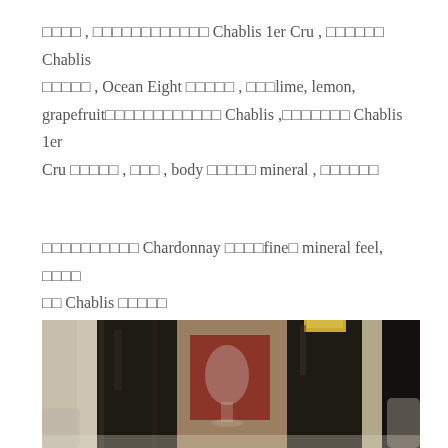□□□□ , □□□□□□□□□□□□ Chablis 1er Cru , □□□□□□ Chablis □□□□□ , Ocean Eight □□□□□ , □□□lime, lemon, grapefruit□□□□□□□□□□□□ Chablis ,□□□□□□□ Chablis 1er Cru □□□□□ , □□□ , body □□□□□ mineral , □□□□□□
□□□□□□□□□□ Chardonnay □□□□fine□ mineral feel, □□□□ □□ Chablis □□□□□
[Figure (photo): Photo of wine bottles arranged on a table at what appears to be a wine tasting event. Dark wine bottles with narrow necks are prominent in the foreground, with wine glasses and a reddish background visible between them. A person's arm/clothing is visible on the left side.]